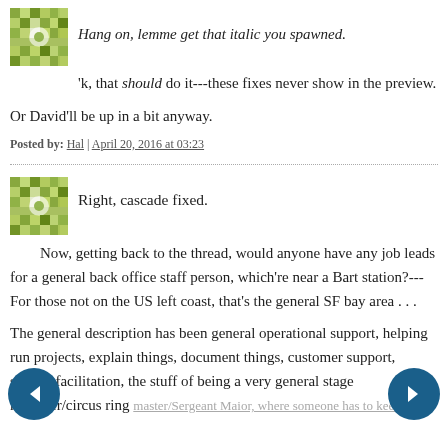Hang on, lemme get that italic you spawned.
'k, that should do it---these fixes never show in the preview.
Or David'll be up in a bit anyway.
Posted by: Hal | April 20, 2016 at 03:23
Right, cascade fixed.
Now, getting back to the thread, would anyone have any job leads for a general back office staff person, which're near a Bart station?---For those not on the US left coast, that's the general SF bay area . . .
The general description has been general operational support, helping run projects, explain things, document things, customer support, system facilitation, the stuff of being a very general stage manager/circus ring master/Sergeant Major, where someone has to keep the